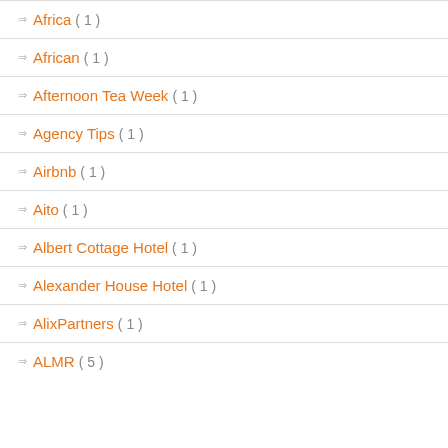Africa ( 1 )
African ( 1 )
Afternoon Tea Week ( 1 )
Agency Tips ( 1 )
Airbnb ( 1 )
Aito ( 1 )
Albert Cottage Hotel ( 1 )
Alexander House Hotel ( 1 )
AlixPartners ( 1 )
ALMR ( 5 )